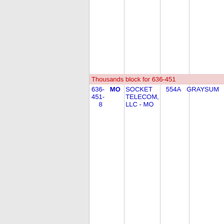|  |  | Thousands block for 636-451 |  |  |
| --- | --- | --- | --- | --- |
| 636-451-8 | MO | SOCKET TELECOM, LLC - MO | 554A | GRAYSUM |